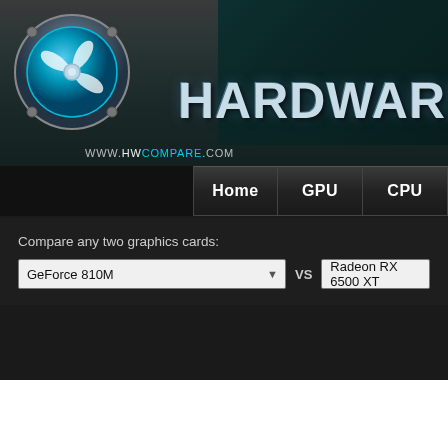[Figure (logo): HWCompare website header with logo (teal swirl/fan icon), HARDWARE text in chrome style, metallic background, www.hwcompare.com URL, navigation buttons: Home, GPU, CPU]
Compare any two graphics cards:
GeForce 810M
VS
Radeon RX 6500 XT